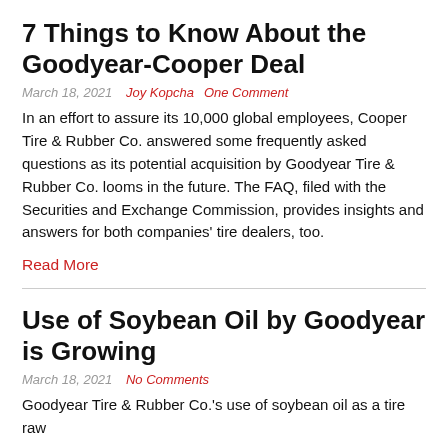7 Things to Know About the Goodyear-Cooper Deal
March 18, 2021   Joy Kopcha   One Comment
In an effort to assure its 10,000 global employees, Cooper Tire & Rubber Co. answered some frequently asked questions as its potential acquisition by Goodyear Tire & Rubber Co. looms in the future. The FAQ, filed with the Securities and Exchange Commission, provides insights and answers for both companies' tire dealers, too.
Read More
Use of Soybean Oil by Goodyear is Growing
March 18, 2021   No Comments
Goodyear Tire & Rubber Co.'s use of soybean oil as a tire raw